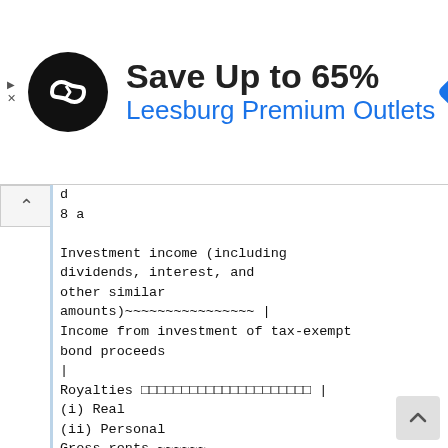[Figure (other): Advertisement banner: Save Up to 65% Leesburg Premium Outlets, with circular logo and navigation diamond icon]
d
8 a

Investment income (including dividends, interest, and other similar amounts)~~~~~~~~~~~~~~~~ |
Income from investment of tax-exempt bond proceeds
|
Royalties ☐☐☐☐☐☐☐☐☐☐☐☐☐☐☐☐☐☐☐☐☐ |
(i) Real
(ii) Personal
Gross rents ~~~~~~
Less: rental expenses ~~~
Rental income or (loss) ~~